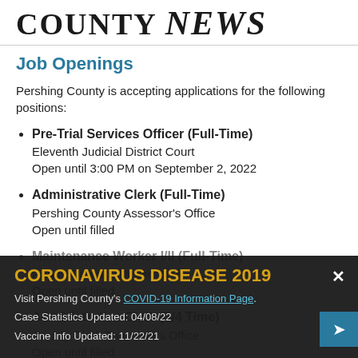COUNTY NEWS
Job Openings
Pershing County is accepting applications for the following positions:
Pre-Trial Services Officer (Full-Time)
Eleventh Judicial District Court
Open until 3:00 PM on September 2, 2022
Administrative Clerk (Full-Time)
Pershing County Assessor's Office
Open until filled
Maintenance Worker I/II (Full-Time)
[Roads/Grounds Department]
Open until filled
Administrative Clerk (3/4 Time)
County Clerk-Treasurer's Office
Open until filled
CORONAVIRUS DISEASE 2019
Visit Pershing County's COVID-19 Information Page.
Case Statistics Updated: 04/08/22
Vaccine Info Updated: 11/22/21